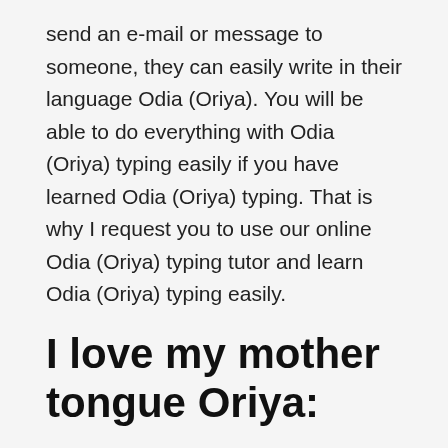send an e-mail or message to someone, they can easily write in their language Odia (Oriya). You will be able to do everything with Odia (Oriya) typing easily if you have learned Odia (Oriya) typing. That is why I request you to use our online Odia (Oriya) typing tutor and learn Odia (Oriya) typing easily.
I love my mother tongue Oriya:
My mother tongue is Oriya. Maybe your mother tongue is Oriya too, so please don't forget it. I request you to speak or chat with anyone in your mother tongue Oriya. If you email or text anyone, do so in your mother tongue Oriya. I am not saying don't learn any other language. Languages are all